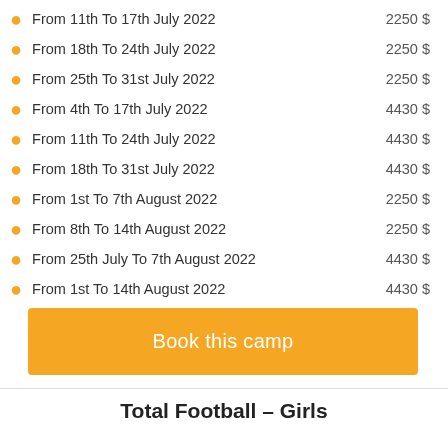From 11th To 17th July 2022  2250 $
From 18th To 24th July 2022  2250 $
From 25th To 31st July 2022  2250 $
From 4th To 17th July 2022  4430 $
From 11th To 24th July 2022  4430 $
From 18th To 31st July 2022  4430 $
From 1st To 7th August 2022  2250 $
From 8th To 14th August 2022  2250 $
From 25th July To 7th August 2022  4430 $
From 1st To 14th August 2022  4430 $
Book this camp
Total Football - Girls